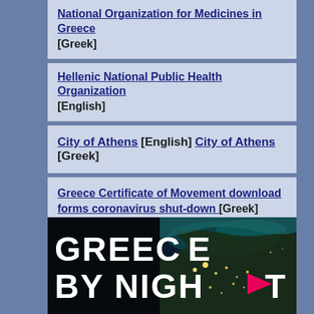National Organization for Medicines in Greece [Greek]
Hellenic National Public Health Organization [English]
City of Athens [English] City of Athens [Greek]
Greece Certificate of Movement download forms coronavirus shut-down [Greek]
Greek Employee Support Link Greek Government [Greek]
[Figure (photo): GREECE BY NIGHT text with satellite night image of Greece showing city lights, pink arrow pointing right]